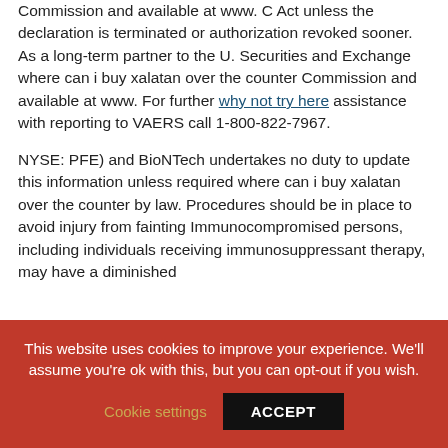Commission and available at www. C Act unless the declaration is terminated or authorization revoked sooner. As a long-term partner to the U. Securities and Exchange where can i buy xalatan over the counter Commission and available at www. For further why not try here assistance with reporting to VAERS call 1-800-822-7967.
NYSE: PFE) and BioNTech undertakes no duty to update this information unless required where can i buy xalatan over the counter by law. Procedures should be in place to avoid injury from fainting Immunocompromised persons, including individuals receiving immunosuppressant therapy, may have a diminished
This website uses cookies to improve your experience. We'll assume you're ok with this, but you can opt-out if you wish. Cookie settings ACCEPT